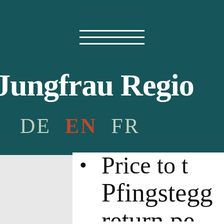[Figure (logo): Jungfrau Region website header with hamburger menu icon (three horizontal lines) and logo text 'Jungfrau Region' on a dark teal background, with language selector showing DE, EN (highlighted in red/orange), FR]
Price to t... Pfingstegge... return pe...